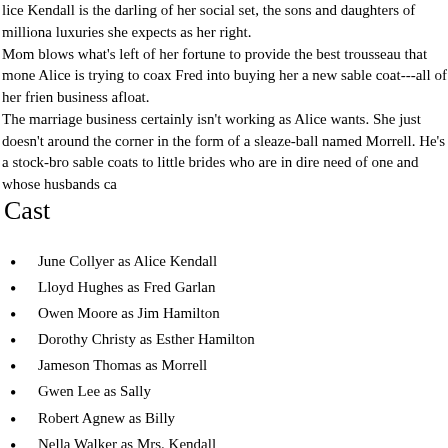lice Kendall is the darling of her social set, the sons and daughters of milliona luxuries she expects as her right. Mom blows what's left of her fortune to provide the best trousseau that mone Alice is trying to coax Fred into buying her a new sable coat---all of her frien business afloat. The marriage business certainly isn't working as Alice wants. She just doesn't around the corner in the form of a sleaze-ball named Morrell. He's a stock-br sable coats to little brides who are in dire need of one and whose husbands ca
Cast
June Collyer as Alice Kendall
Lloyd Hughes as Fred Garlan
Owen Moore as Jim Hamilton
Dorothy Christy as Esther Hamilton
Jameson Thomas as Morrell
Gwen Lee as Sally
Robert Agnew as Billy
Nella Walker as Mrs. Kendall
Martha Mattox as Guest
Arthur Hoyt as Guest